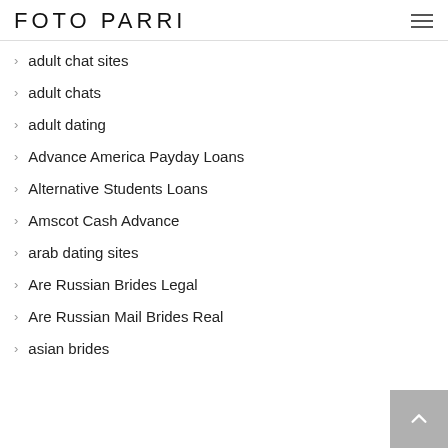FOTO PARRI
adult chat sites
adult chats
adult dating
Advance America Payday Loans
Alternative Students Loans
Amscot Cash Advance
arab dating sites
Are Russian Brides Legal
Are Russian Mail Brides Real
asian brides